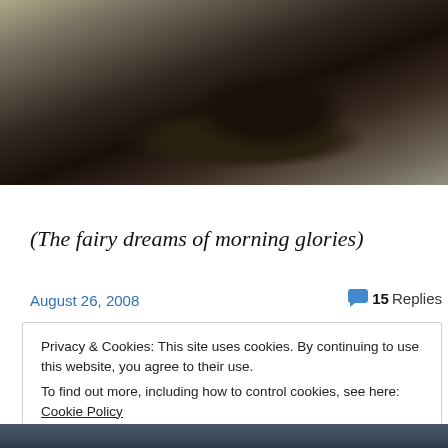[Figure (photo): Cropped photo of an animal (appears to be a dark-colored animal resting on a light surface), top portion of image visible]
(The fairy dreams of morning glories)
August 26, 2008
💬 15 Replies
Privacy & Cookies: This site uses cookies. By continuing to use this website, you agree to their use.
To find out more, including how to control cookies, see here: Cookie Policy
Close and accept
[Figure (photo): Bottom strip of another photo, dark blue-grey tones]